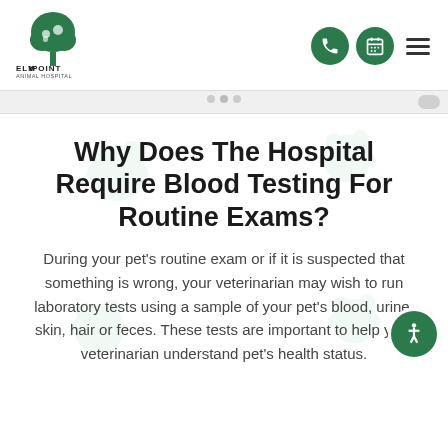[Figure (logo): Elm Point Animal Hospital logo — green tree with animals, text ELM POINT ANIMAL HOSPITAL]
[Figure (other): Navigation icons: green circle phone button, green circle calendar button, hamburger menu icon]
Why Does The Hospital Require Blood Testing For Routine Exams?
During your pet's routine exam or if it is suspected that something is wrong, your veterinarian may wish to run laboratory tests using a sample of your pet's blood, urine, skin, hair or feces. These tests are important to help your veterinarian understand pet's health status.